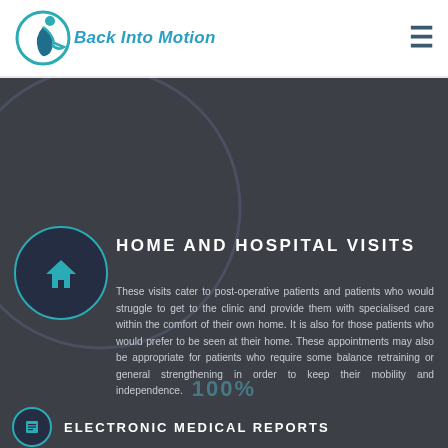Back Into Motion
[Figure (logo): Back Into Motion logo with circular icon and teal text]
HOME AND HOSPITAL VISITS
These visits cater to post-operative patients and patients who would struggle to get to the clinic and provide them with specialised care within the comfort of their own home. It is also for those patients who would prefer to be seen at their home. These appointments may also be appropriate for patients who require some balance retraining or general strengthening in order to keep their mobility and independence.
100%
ELECTRONIC MEDICAL REPORTS